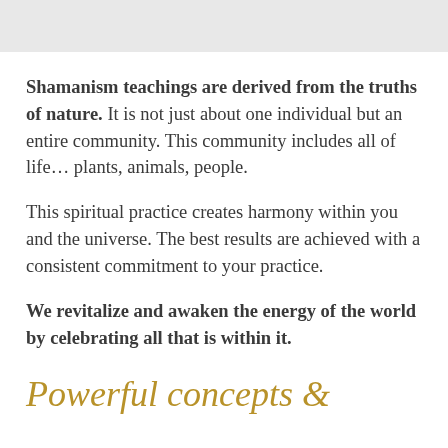[Figure (other): Gray rectangular bar at the top of the page]
Shamanism teachings are derived from the truths of nature. It is not just about one individual but an entire community. This community includes all of life… plants, animals, people.
This spiritual practice creates harmony within you and the universe. The best results are achieved with a consistent commitment to your practice.
We revitalize and awaken the energy of the world by celebrating all that is within it.
Powerful concepts &